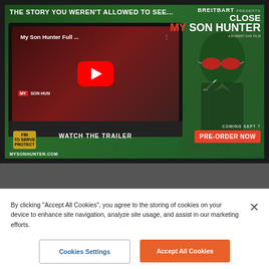[Figure (screenshot): Breitbart 'My Son Hunter' movie advertisement banner showing a YouTube embedded trailer on a laptop, with a man wearing red sunglasses smoking on the right side. Green tinted background. Text reads 'THE STORY YOU WEREN'T ALLOWED TO SEE...', 'BREITBART PRESENTS CLOSE MY SON HUNTER A ROBERT DAV FILM', 'WATCH THE TRAILER', 'COMING SEPT 7', 'PRE-ORDER NOW', 'MYSONHUNTER.COM']
By clicking “Accept All Cookies”, you agree to the storing of cookies on your device to enhance site navigation, analyze site usage, and assist in our marketing efforts.
Cookies Settings
Accept All Cookies